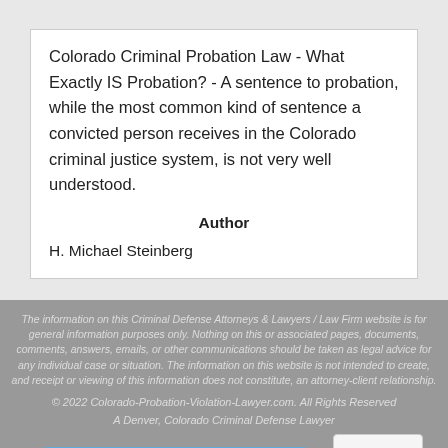Colorado Criminal Probation Law - What Exactly IS Probation? - A sentence to probation, while the most common kind of sentence a convicted person receives in the Colorado criminal justice system, is not very well understood.
Author
H. Michael Steinberg
The information on this Criminal Defense Attorneys & Lawyers / Law Firm website is for general information purposes only. Nothing on this or associated pages, documents, comments, answers, emails, or other communications should be taken as legal advice for any individual case or situation. The information on this website is not intended to create, and receipt or viewing of this information does not constitute, an attorney-client relationship.
© 2022 Colorado-Probation-Violation-Lawyer.com. All Rights Reserved
A Denver, Colorado Criminal Defense Lawyer
Touch To Call / Share